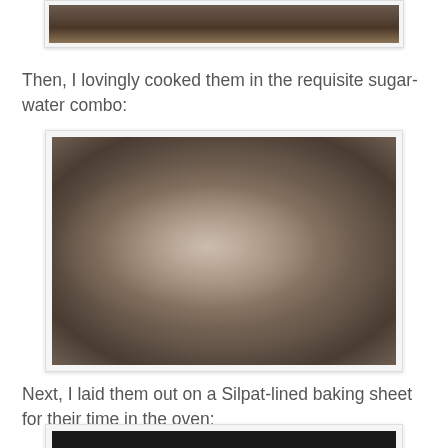[Figure (photo): Partial view of a photo showing food on a dark plate, cropped at top of page]
Then, I lovingly cooked them in the requisite sugar-water combo:
[Figure (photo): Overhead view of sliced fruit or vegetables cooking in a metal bowl with sugar-water syrup, showing pale translucent slices with reddish edges]
Next, I laid them out on a Silpat-lined baking sheet for their time in the oven:
[Figure (photo): Partial view at bottom of page showing dark baking sheet, cropped]